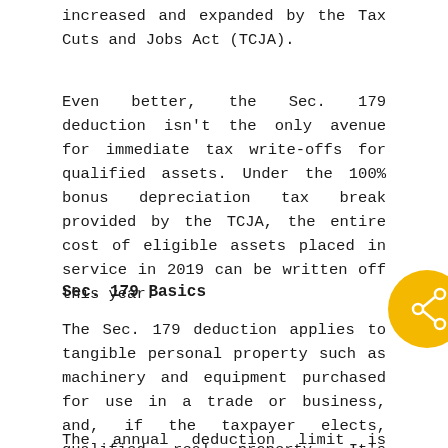increased and expanded by the Tax Cuts and Jobs Act (TCJA).
Even better, the Sec. 179 deduction isn't the only avenue for immediate tax write-offs for qualified assets. Under the 100% bonus depreciation tax break provided by the TCJA, the entire cost of eligible assets placed in service in 2019 can be written off this year.
Sec. 179 Basics
[Figure (illustration): Gold circular icon with a share/network symbol (nodes connected by lines) on the right side of the page]
The Sec. 179 deduction applies to tangible personal property such as machinery and equipment purchased for use in a trade or business, and, if the taxpayer elects, qualified real property. It's generally available on a tax year basis and is subject to a dollar limit.
The annual deduction limit is $1.02 million for